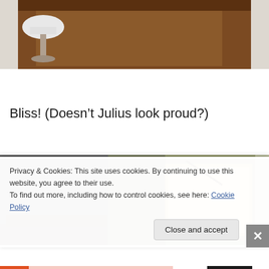[Figure (photo): Top portion of a photo showing a wooden piece of furniture (possibly a fireplace mantel or dresser) with a white lamp on the left side, against light-colored walls]
Bliss! (Doesn’t Julius look proud?)
[Figure (photo): Interior room photo showing a dark antique mirror or framed artwork on the left, and a lit doorway or window opening on the right, with olive-green walls]
Privacy & Cookies: This site uses cookies. By continuing to use this website, you agree to their use.
To find out more, including how to control cookies, see here: Cookie Policy
Close and accept